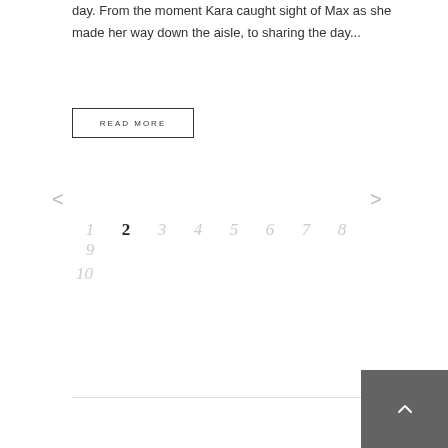day. From the moment Kara caught sight of Max as she made her way down the aisle, to sharing the day...
READ MORE
< >
1 2 3 4 5 6 7 8 9 10